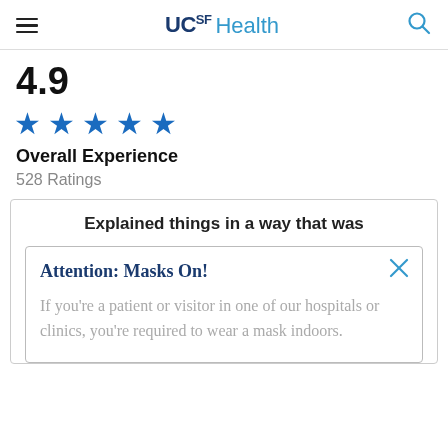UCSF Health
4.9
[Figure (other): Five blue stars rating display]
Overall Experience
528 Ratings
Explained things in a way that was
Attention: Masks On!

If you're a patient or visitor in one of our hospitals or clinics, you're required to wear a mask indoors.